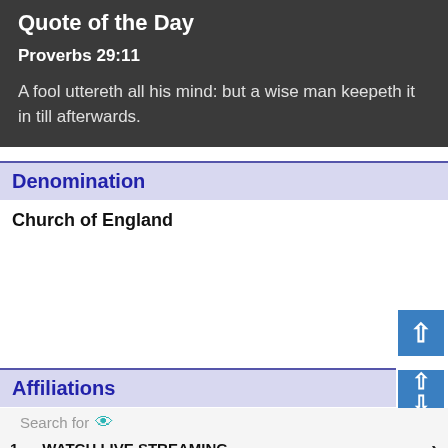Quote of the Day
Proverbs 29:11
A fool uttereth all his mind: but a wise man keepeth it in till afterwards.
Denomination
Church of England
Affiliations
Search for
1. WATCH LIVE STREAMING
2. LIVE ONLINE CHURCH SERVICES